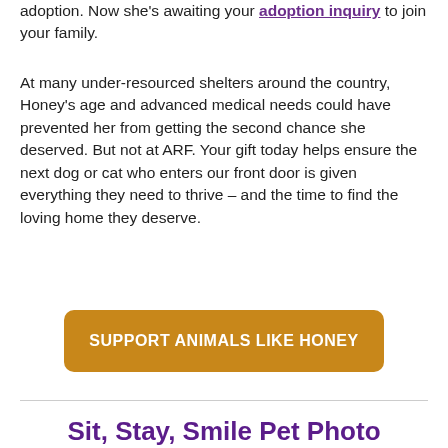adoption. Now she's awaiting your adoption inquiry to join your family.
At many under-resourced shelters around the country, Honey's age and advanced medical needs could have prevented her from getting the second chance she deserved. But not at ARF. Your gift today helps ensure the next dog or cat who enters our front door is given everything they need to thrive – and the time to find the loving home they deserve.
SUPPORT ANIMALS LIKE HONEY
Sit, Stay, Smile Pet Photo Contest Returns
[Figure (photo): A strip of pet photos showing cats and dogs]